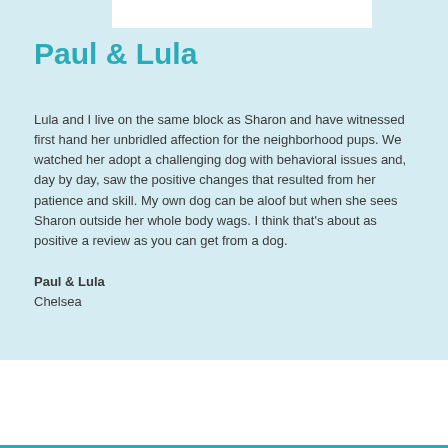Paul & Lula
Lula and I live on the same block as Sharon and have witnessed first hand her unbridled affection for the neighborhood pups. We watched her adopt a challenging dog with behavioral issues and, day by day, saw the positive changes that resulted from her patience and skill. My own dog can be aloof but when she sees Sharon outside her whole body wags. I think that's about as positive a review as you can get from a dog.
Paul & Lula
Chelsea